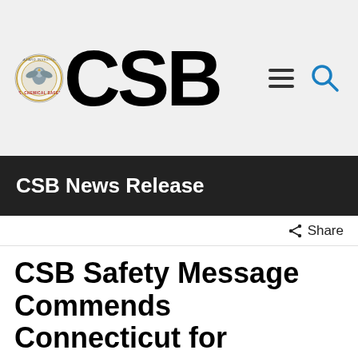[Figure (logo): CSB logo with circular seal and large bold CSB text]
CSB News Release
Share
CSB Safety Message Commends Connecticut for Prohibiting Natural Gas Blows, Calls on States to take Similar Action